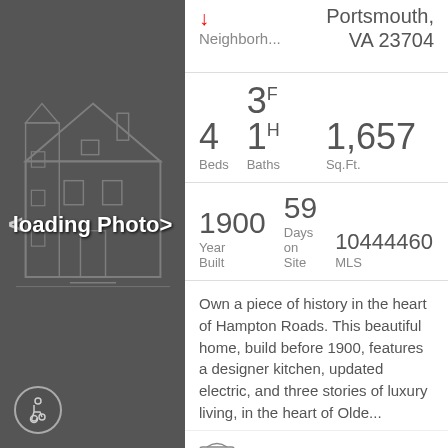[Figure (illustration): Loading photo placeholder with outline of a Victorian house on dark grey background with navigation arrows and wheelchair accessibility icon]
Portsmouth, VA 23704
Neighborh...
4 Beds   3F 1H Baths   1,657 Sq.Ft.
1900 Year Built   59 Days on Site   10444460 MLS
Own a piece of history in the heart of Hampton Roads. This beautiful home, build before 1900, features a designer kitchen, updated electric, and three stories of luxury living, in the heart of Olde...
MLS #: 10444460